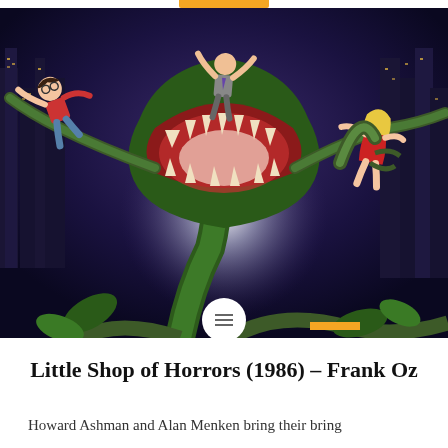[Figure (illustration): Movie poster for Little Shop of Horrors (1986) showing a giant carnivorous plant with an open mouth full of tentacles in the center, a man in a red sweater being flung to the left, a man in a suit being lifted in the center background, and a blonde woman in a red dress being grabbed on the right, all against a dark city skyline backdrop with purple/blue hues.]
Little Shop of Horrors (1986) – Frank Oz
Howard Ashman and Alan Menken bring their bring